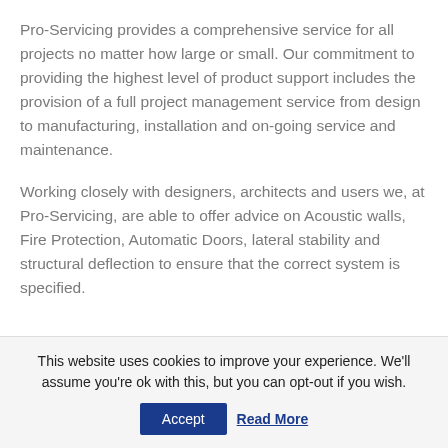Pro-Servicing provides a comprehensive service for all projects no matter how large or small. Our commitment to providing the highest level of product support includes the provision of a full project management service from design to manufacturing, installation and on-going service and maintenance.
Working closely with designers, architects and users we, at Pro-Servicing, are able to offer advice on Acoustic walls, Fire Protection, Automatic Doors, lateral stability and structural deflection to ensure that the correct system is specified.
This website uses cookies to improve your experience. We'll assume you're ok with this, but you can opt-out if you wish.